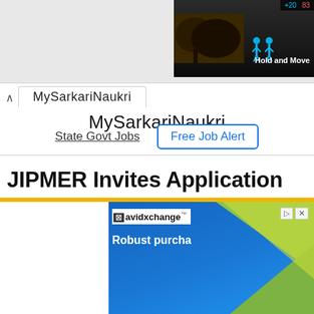[Figure (screenshot): Top portion of a mobile game screenshot showing dark background with tree silhouette, blue figures, and 'Hold and Move' text. Score bar visible at top right.]
MySarkariNaukri
State Govt Jobs   Free Job Alert
JIPMER Invites Application for Data Entry Operator Recruitment 2022
[Figure (screenshot): Advertisement banner for AvidXchange showing 'Robust purcha...' text on blue background with green geometric triangle shapes on the right side.]